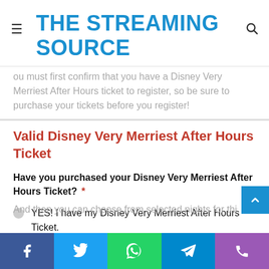THE STREAMING SOURCE
ou must first confirm that you have a Disney Very Merriest After Hours ticket to register, so be sure to purchase your tickets before you register!
Valid Disney Very Merriest After Hours Ticket
Have you purchased your Disney Very Merriest After Hours Ticket? *
YES! I have my Disney Very Merriest After Hours Ticket.
No, I have not purchased my Disney Very Merriest After Hours Ticket yet.
© Disney
And then you can choose from selected nights for this
Facebook  Twitter  WhatsApp  Telegram  Phone